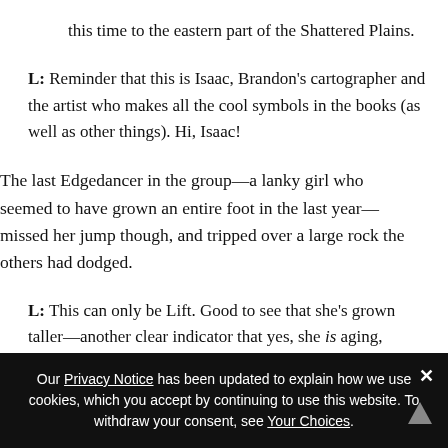this time to the eastern part of the Shattered Plains.
L: Reminder that this is Isaac, Brandon's cartographer and the artist who makes all the cool symbols in the books (as well as other things). Hi, Isaac!
The last Edgedancer in the group—a lanky girl who seemed to have grown an entire foot in the last year—missed her jump though, and tripped over a large rock the others had dodged.
L: This can only be Lift. Good to see that she's grown taller—another clear indicator that yes, she is aging,
Our Privacy Notice has been updated to explain how we use cookies, which you accept by continuing to use this website. To withdraw your consent, see Your Choices.